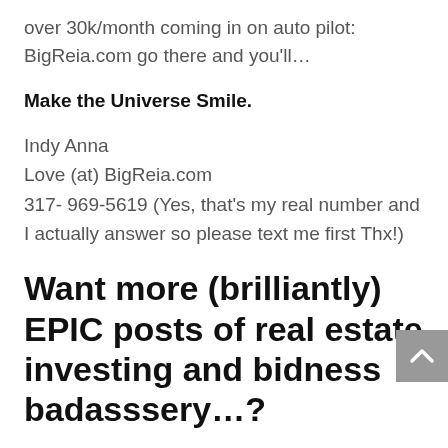over 30k/month coming in on auto pilot: BigReia.com go there and you'll…
Make the Universe Smile.
Indy Anna
Love (at) BigReia.com
317- 969-5619 (Yes, that's my real number and I actually answer so please text me first Thx!)
Want more (brilliantly) EPIC posts of real estate investing and bidness badasssery…?